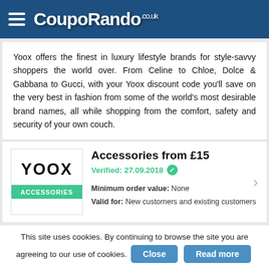CoupoRando.co.uk
Yoox offers the finest in luxury lifestyle brands for style-savvy shoppers the world over. From Celine to Chloe, Dolce & Gabbana to Gucci, with your Yoox discount code you'll save on the very best in fashion from some of the world's most desirable brand names, all while shopping from the comfort, safety and security of your own couch.
[Figure (logo): YOOX ACCESSORIES logo box with green banner]
Accessories from £15
Verified: 27.09.2018
Minimum order value: None
Valid for: New customers and existing customers
This site uses cookies. By continuing to browse the site you are agreeing to our use of cookies.